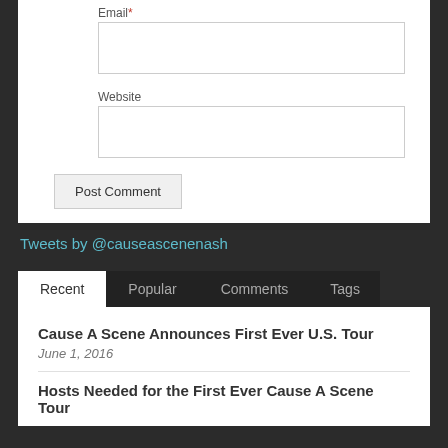Email*
Website
Post Comment
Tweets by @causeascenenash
Recent | Popular | Comments | Tags
Cause A Scene Announces First Ever U.S. Tour
June 1, 2016
Hosts Needed for the First Ever Cause A Scene Tour